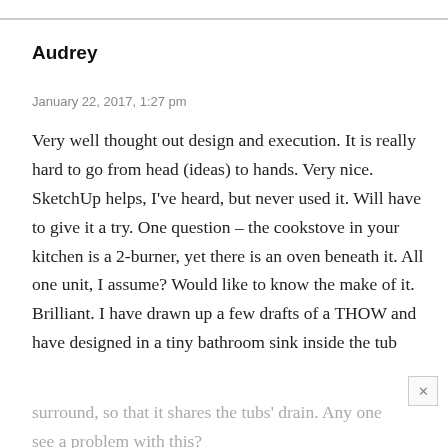Audrey
January 22, 2017, 1:27 pm
Very well thought out design and execution. It is really hard to go from head (ideas) to hands. Very nice. SketchUp helps, I've heard, but never used it. Will have to give it a try. One question – the cookstove in your kitchen is a 2-burner, yet there is an oven beneath it. All one unit, I assume? Would like to know the make of it. Brilliant. I have drawn up a few drafts of a THOW and have designed in a tiny bathroom sink inside the tub surround, so that it shares the tubs' drain. Any one see a problem with this?